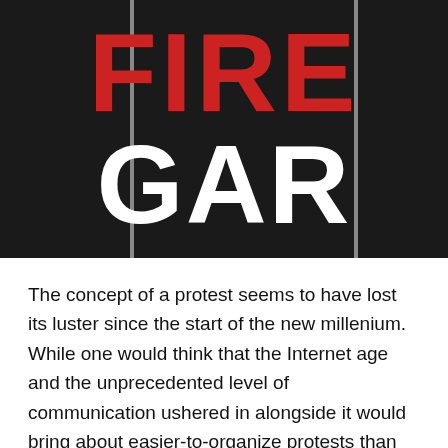[Figure (illustration): Book cover image with dark background showing partial title text 'FIRE' in large red bold letters and 'GAR' in large white bold letters, with two vertical gray bars flanking the text]
The concept of a protest seems to have lost its luster since the start of the new millenium. While one would think that the Internet age and the unprecedented level of communication ushered in alongside it would bring about easier-to-organize protests than ever before, only demonstrations with firmly-rooted and just causes